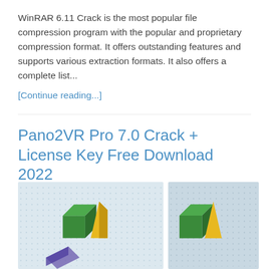WinRAR 6.11 Crack is the most popular file compression program with the popular and proprietary compression format. It offers outstanding features and supports various extraction formats. It also offers a complete list...
[Continue reading...]
Pano2VR Pro 7.0 Crack + License Key Free Download 2022
By procrxsw_m   May 21, 2022   Editor, Software   0 Comments
[Figure (photo): Screenshot of Pano2VR Pro showing 3D green and yellow geometric shapes on a dotted background, image split into two panels side by side]